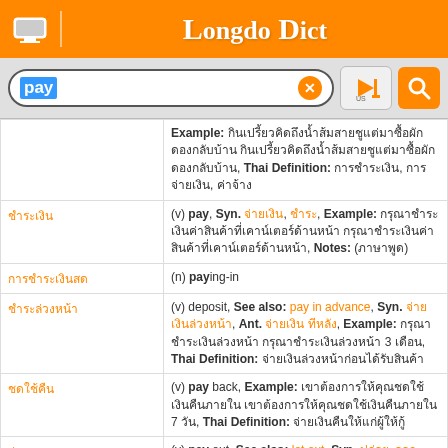Longdo Dict
Search bar with 'pay'
| Thai Word | Definition |
| --- | --- |
|  | Example: [Thai text], Thai Definition: [Thai text] |
| [Thai] | (v) pay, Syn. [Thai], [Thai], Example: [Thai text], Notes: ([Thai]) |
| [Thai] | (n) paying-in |
| [Thai] | (v) deposit, See also: pay in advance, Syn. [Thai], Ant. [Thai], Example: [Thai text] 3 [Thai], Thai Definition: [Thai text] |
| [Thai] | (v) pay back, Example: [Thai text] 7 [Thai], Thai Definition: [Thai text] |
| [Thai] | (v) pay out, See also: let out, Syn. [Thai], [Thai] |
| [Thai] | (v) attend, See also: pay attention, |